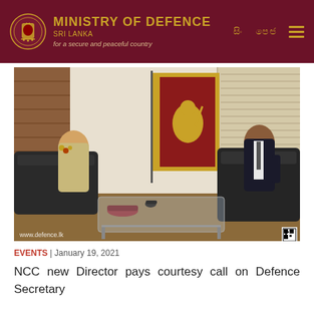MINISTRY OF DEFENCE SRI LANKA for a secure and peaceful country
[Figure (photo): Two men seated on black sofas in an office. One man in military uniform (light khaki with medals) on the left, and another man in a dark business suit on the right. A Sri Lanka national flag (red and yellow lion flag) is displayed in the background. A glass coffee table with a small cannon ornament is in the foreground. The website watermark 'www.defence.lk' appears at the bottom left, and a QR code at the bottom right.]
EVENTS | January 19, 2021
NCC new Director pays courtesy call on Defence Secretary